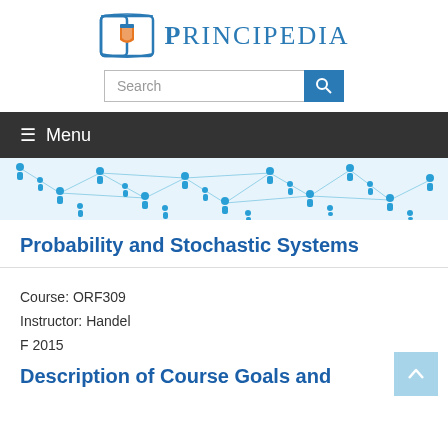[Figure (logo): Principedia logo with open book and Princeton shield icon, blue text reading PRINCIPEDIA]
[Figure (screenshot): Search bar with text 'Search' and blue search button]
[Figure (illustration): Navigation menu bar with dark background showing hamburger menu icon and 'Menu' text]
[Figure (illustration): Decorative banner with blue network/people icons connected by lines]
Probability and Stochastic Systems
Course: ORF309
Instructor: Handel
F 2015
Description of Course Goals and